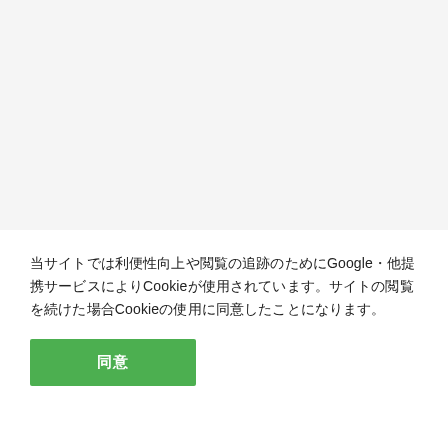当サイトでは利便性向上や閲覧の追跡のためにGoogle・他提携サービスによりCookieが使用されています。サイトの閲覧を続けた場合Cookieの使用に同意したことになります。
同意